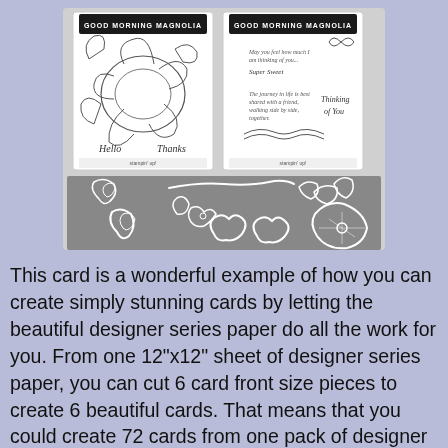[Figure (photo): Photo of two Good Morning Magnolia stamp sets in packaging (one with floral images, one with sentiment stamps), displayed above a collection of clear die-cut shapes including flowers, leaves, a branch, and magnolia petal pieces arranged on a gray background.]
This card is a wonderful example of how you can create simply stunning cards by letting the beautiful designer series paper do all the work for you. From one 12"x12" sheet of designer series paper, you can cut 6 card front size pieces to create 6 beautiful cards. That means that you could create 72 cards from one pack of designer series paper. What a wonderful way to create a variety of cards and get